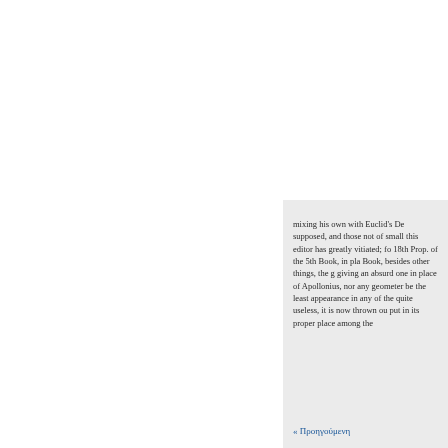mixing his own with Euclid's De supposed, and those not of small this editor has greatly vitiated; fo 18th Prop. of the 5th Book, in pla Book, besides other things, the g giving an absurd one in place of Apollonius, nor any geometer be the least appearance in any of the quite useless, it is now thrown ou put in its proper place among the
« Προηγούμενη